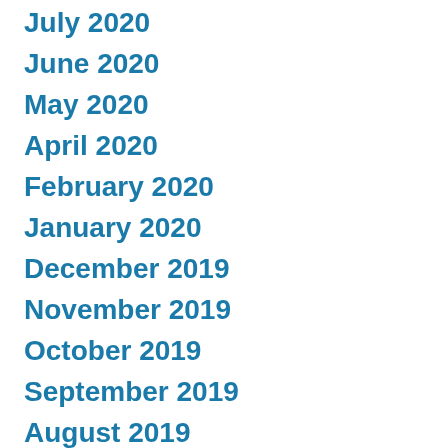July 2020
June 2020
May 2020
April 2020
February 2020
January 2020
December 2019
November 2019
October 2019
September 2019
August 2019